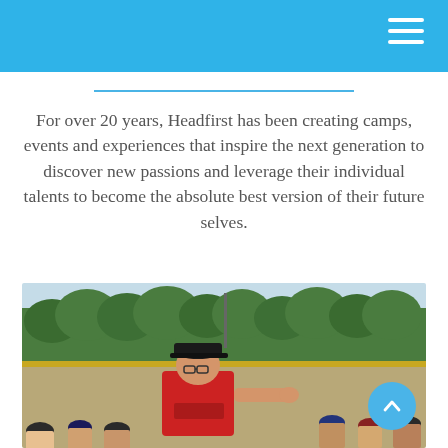For over 20 years, Headfirst has been creating camps, events and experiences that inspire the next generation to discover new passions and leverage their individual talents to become the absolute best version of their future selves.
[Figure (photo): A baseball coach in a red shirt and black cap stands on a baseball field, gesturing to players during a camp. Trees and baseball field structures are visible in the background.]